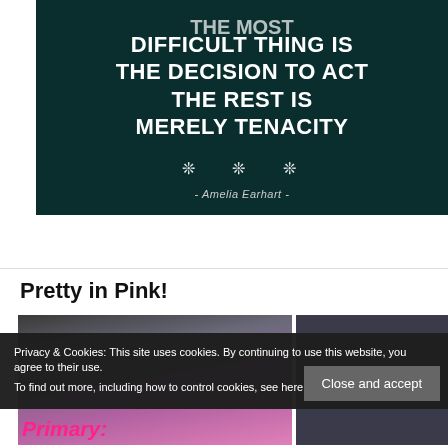[Figure (illustration): Dark teal rainy background with bold white uppercase quote text: 'THE MOST DIFFICULT THING IS THE DECISION TO ACT THE REST IS MERELY TENACITY' with snowflake symbols and attribution '- Amelia Earhart -']
Pretty in Pink!
[Figure (photo): Partially visible photo showing a person in pink, with text 'Primary:' visible at bottom left. Right portion is a second darker image.]
Privacy & Cookies: This site uses cookies. By continuing to use this website, you agree to their use. To find out more, including how to control cookies, see here: Cookie Policy